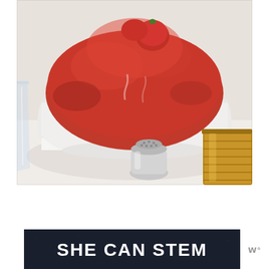[Figure (photo): A white ceramic pot or Dutch oven containing bright red tomato sauce with a whole tomato visible. On the table around the pot: a glass on the left, a salt shaker in the center-front, and an open tin can on the right.]
[Figure (logo): Dark navy/black banner with bold white text reading 'SHE CAN STEM']
[Figure (logo): Small grey logo on white background showing stylized 'W' with a degree symbol, representing Womanium or similar brand]